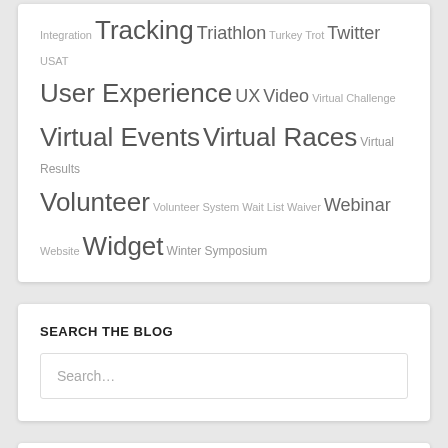Integration Tracking Triathlon Turkey Trot Twitter USAT User Experience UX Video Virtual Challenge Virtual Events Virtual Races Virtual Results Volunteer Volunteer System Wait List Waiver Webinar Website Widget Winter Symposium
SEARCH THE BLOG
Search…
SUBSCRIBE TO BLOG VIA EMAIL
Enter your email address to subscribe to this blog and